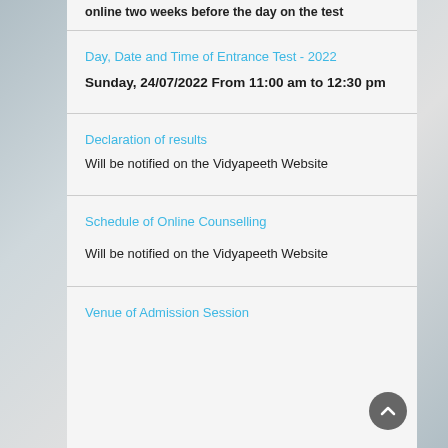online two weeks before the day of the test
Day, Date and Time of Entrance Test - 2022
Sunday, 24/07/2022 From 11:00 am to 12:30 pm
Declaration of results
Will be notified on the Vidyapeeth Website
Schedule of Online Counselling
Will be notified on the Vidyapeeth Website
Venue of Admission Session